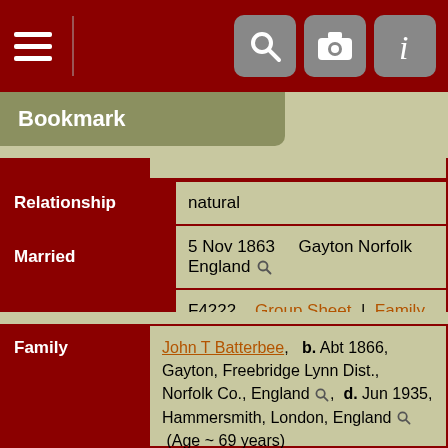Bookmark
| Field | Value |
| --- | --- |
| Relationship | natural |
| Married | 5 Nov 1863 | Gayton Norfolk England |
| Family ID | F4222 | Group Sheet | Family Chart |
| Family |
| --- |
| Family | John T Batterbee, b. Abt 1866, Gayton, Freebridge Lynn Dist., Norfolk Co., England, d. Jun 1935, Hammersmith, London, England (Age ~ 69 years) |